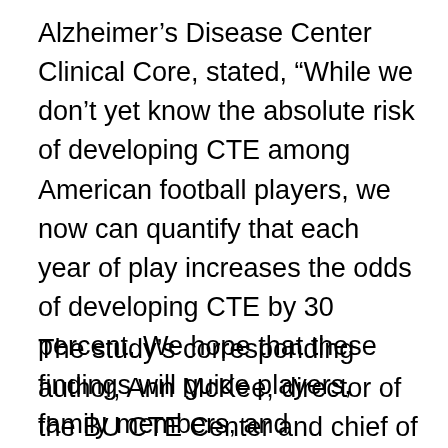Alzheimer's Disease Center Clinical Core, stated, “While we don’t yet know the absolute risk of developing CTE among American football players, we now can quantify that each year of play increases the odds of developing CTE by 30 percent. We hope that these findings will guide players, family members, and physicians in making informed decisions regarding play.”
The study’s corresponding author, Ann McKee, director of the BU CTE Center and chief of neuropathology at VA Boston